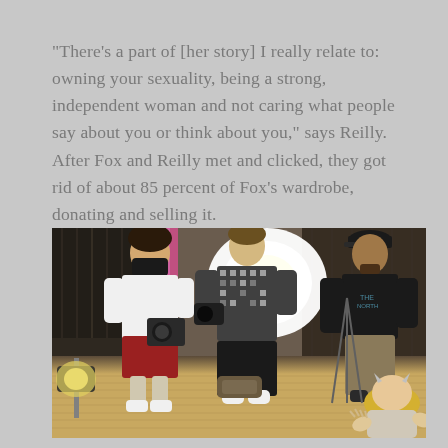"There's a part of [her story] I really relate to: owning your sexuality, being a strong, independent woman and not caring what people say about you or think about you," says Reilly. After Fox and Reilly met and clicked, they got rid of about 85 percent of Fox's wardrobe, donating and selling it.
[Figure (photo): Behind-the-scenes photo of a photo shoot in a wardrobe/dressing room. Three men are visible: one on the left wearing a white t-shirt, red shorts, and a black face mask looking at a camera; one in the center wearing a black-and-white patterned sweater holding a camera; one on the right wearing a black t-shirt and cap. A large bright light panel is visible in the background center. Clothing racks with garments fill the background. A blonde woman is partially visible in the bottom right corner with hands raised. The floor is warm wood-toned.]